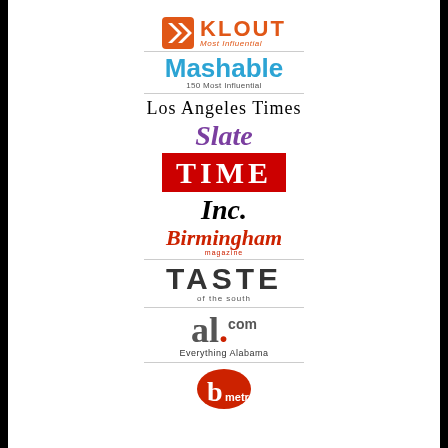[Figure (logo): Klout Most Influential logo — orange arrow icon with KLOUT text and 'Most Influential' subtitle]
[Figure (logo): Mashable logo in blue with '150 Most Influential' subtitle]
[Figure (logo): Los Angeles Times logo in black serif font]
[Figure (logo): Slate magazine logo in purple italic serif]
[Figure (logo): TIME magazine logo — white text on red background]
[Figure (logo): Inc. magazine logo in bold black italic serif]
[Figure (logo): Birmingham magazine logo in red italic script with 'magazine' subtitle]
[Figure (logo): TASTE of the South logo in large dark gray caps with subtitle]
[Figure (logo): al.com logo in dark gray with red dot and .com superscript, 'Everything Alabama' subtitle]
[Figure (logo): b metro logo — white 'b' on red circle with 'metro' text]